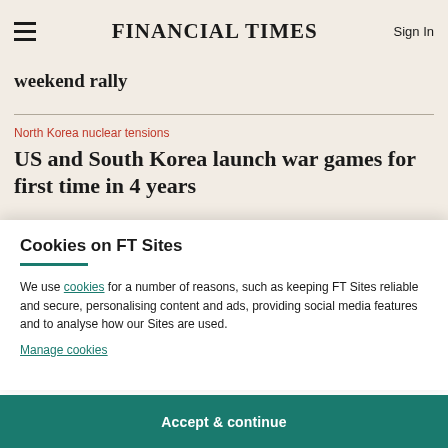FINANCIAL TIMES
weekend rally
North Korea nuclear tensions
US and South Korea launch war games for first time in 4 years
Cookies on FT Sites
We use cookies for a number of reasons, such as keeping FT Sites reliable and secure, personalising content and ads, providing social media features and to analyse how our Sites are used.
Manage cookies
Accept & continue